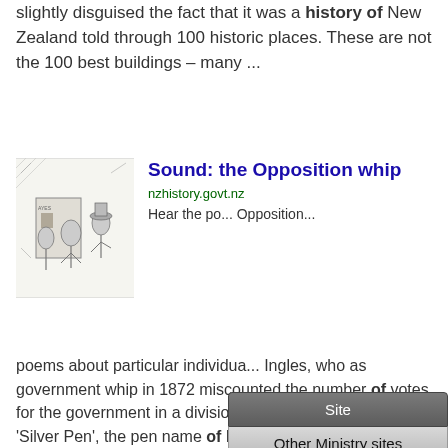slightly disguised the fact that it was a history of New Zealand told through 100 historic places. These are not the 100 best buildings – many ...
[Figure (illustration): Black and white cartoon/illustration showing a chaotic scene with figures]
Sound: the Opposition whip
nzhistory.govt.nz
Hear the po... Opposition ... poems about particular individua... Ingles, who as government whip in 1872 miscounted the number of votes for the government in a division. The poem was written by 'Silver Pen', the pen name of Mrs Corlett who ...
[Figure (screenshot): Dropdown menu overlay with two items: 'Site' and 'Other Ministry sites']
[Figure (photo): Photo of wooden roll of honour panel with engraved names]
Samoan Advance Party Roll of Honour
nzhistory.govt.nz
Party, who held the first of a number of annual reunions in 1931. It is not known when it was presented to the...